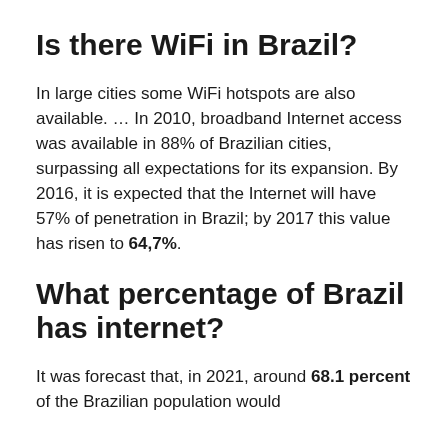Is there WiFi in Brazil?
In large cities some WiFi hotspots are also available. … In 2010, broadband Internet access was available in 88% of Brazilian cities, surpassing all expectations for its expansion. By 2016, it is expected that the Internet will have 57% of penetration in Brazil; by 2017 this value has risen to 64,7%.
What percentage of Brazil has internet?
It was forecast that, in 2021, around 68.1 percent of the Brazilian population would be connected through the internet.